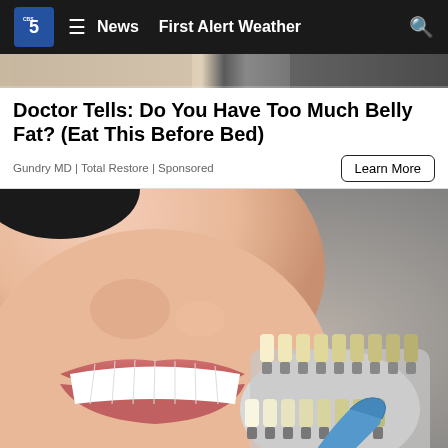CBS 5 | News | First Alert Weather
[Figure (photo): Partial view of people, top image strip cropped]
Doctor Tells: Do You Have Too Much Belly Fat? (Eat This Before Bed)
Gundry MD | Total Restore | Sponsored
[Figure (photo): Close-up of a smiling person with white teeth next to a dental shade guide held by a gloved hand]